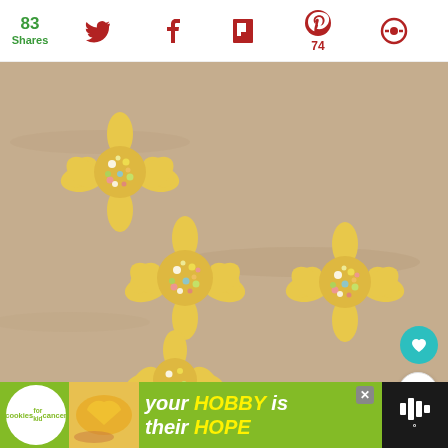83 Shares | Twitter | Facebook | Flipboard | Pinterest 74 | Other
[Figure (photo): Four flower-shaped butter cookies decorated with colorful sprinkles on parchment paper, viewed from above before baking. A fifth cookie is partially visible at the bottom.]
[Figure (infographic): What's Next overlay: Slow Cooker Pumpkin... with thumbnail of pumpkins]
[Figure (infographic): Advertisement banner: 'your HOBBY is their HOPE' with cookies for kids cancer logo and photo of heart-shaped cookie]